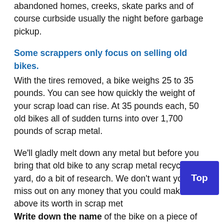abandoned homes, creeks, skate parks and of course curbside usually the night before garbage pickup.
Some scrappers only focus on selling old bikes.
With the tires removed, a bike weighs 25 to 35 pounds. You can see how quickly the weight of your scrap load can rise. At 35 pounds each, 50 old bikes all of sudden turns into over 1,700 pounds of scrap metal.
We'll gladly melt down any metal but before you bring that old bike to any scrap metal recycling yard, do a bit of research. We don't want you to miss out on any money that you could make above its worth in scrap met…
Write down the name of the bike on a piece of